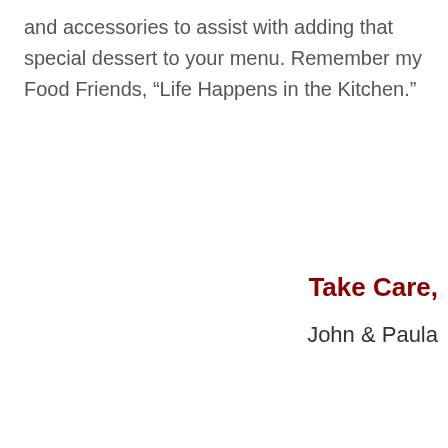and accessories to assist with adding that special dessert to your menu. Remember my Food Friends, “Life Happens in the Kitchen.”
Take Care,
John & Paula